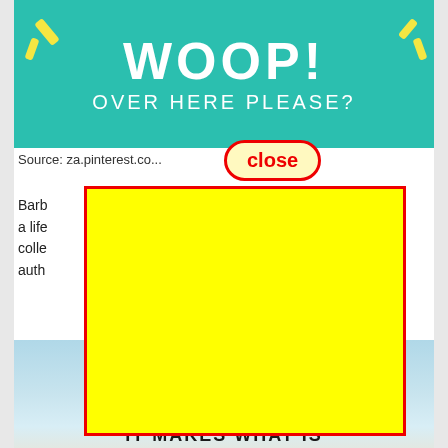[Figure (illustration): Teal/turquoise banner with large white bold text 'WOOP!' and subtitle 'OVER HERE PLEASE?' with yellow decorative spark/dash marks on left and right sides]
Source: za.pinterest.co...
[Figure (illustration): Red-outlined oval 'close' button with yellow background and red bold text 'close']
Barb... ...get a life... ...colle... ...y auth...
[Figure (illustration): Large yellow rectangle with red border overlaying the body text area]
[Figure (photo): Beach/ocean scene with sky and sand, partially visible at bottom of page]
IT MAKES WHAT IS